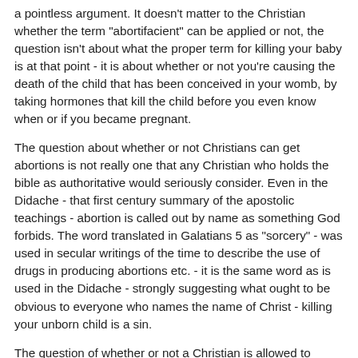a pointless argument.  It doesn't matter to the Christian whether the term "abortifacient" can be applied or not, the question isn't about what the proper term for killing your baby is at that point - it is about whether or not you're causing the death of the child that has been conceived in your womb, by taking hormones that kill the child before you even know when or if you became pregnant.
The question about whether or not Christians can get abortions is not really one that any Christian who holds the bible as authoritative would seriously consider.  Even in the Didache - that first century summary of the apostolic teachings - abortion is called out by name as something God forbids.  The word translated in Galatians 5 as "sorcery" - was used in secular writings of the time to describe the use of drugs in producing abortions etc. - it is the same word as is used in the Didache - strongly suggesting what ought to be obvious to everyone who names the name of Christ - killing your unborn child is a sin.
The question of whether or not a Christian is allowed to practice a form of birth control that can cause  the life that is